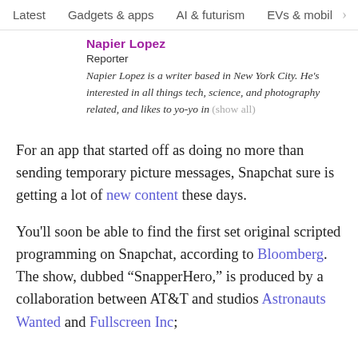Latest   Gadgets & apps   AI & futurism   EVs & mobil >
Napier Lopez
Reporter
Napier Lopez is a writer based in New York City. He's interested in all things tech, science, and photography related, and likes to yo-yo in (show all)
For an app that started off as doing no more than sending temporary picture messages, Snapchat sure is getting a lot of new content these days.
You'll soon be able to find the first set original scripted programming on Snapchat, according to Bloomberg. The show, dubbed “SnapperHero,” is produced by a collaboration between AT&T and studios Astronauts Wanted and Fullscreen Inc;